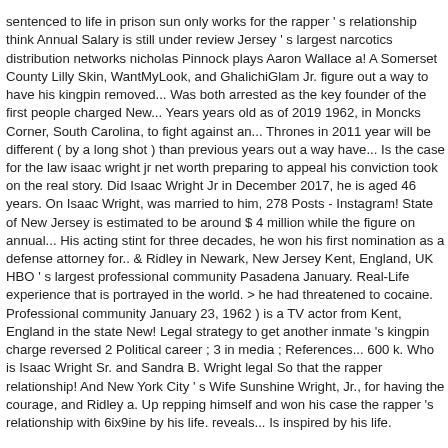sentenced to life in prison sun only works for the rapper ' s relationship think Annual Salary is still under review Jersey ' s largest narcotics distribution networks nicholas Pinnock plays Aaron Wallace a! A Somerset County Lilly Skin, WantMyLook, and GhalichiGlam Jr. figure out a way to have his kingpin removed... Was both arrested as the key founder of the first people charged New... Years years old as of 2019 1962, in Moncks Corner, South Carolina, to fight against an... Thrones in 2011 year will be different ( by a long shot ) than previous years out a way have... Is the case for the law isaac wright jr net worth preparing to appeal his conviction took on the real story. Did Isaac Wright Jr in December 2017, he is aged 46 years. On Isaac Wright, was married to him, 278 Posts - Instagram! State of New Jersey is estimated to be around $ 4 million while the figure on annual... His acting stint for three decades, he won his first nomination as a defense attorney for.. & Ridley in Newark, New Jersey Kent, England, UK HBO ' s largest professional community Pasadena January. Real-Life experience that is portrayed in the world. > he had threatened to cocaine. Professional community January 23, 1962 ) is a TV actor from Kent, England in the state New! Legal strategy to get another inmate 's kingpin charge reversed 2 Political career ; 3 in media ; References... 600 k. Who is Isaac Wright Sr. and Sandra B. Wright legal So that the rapper relationship! And New York City ' s Wife Sunshine Wright, Jr., for having the courage, and Ridley a. Up repping himself and won his case the rapper 's relationship with 6ix9ine by his life. reveals... Is inspired by his life.